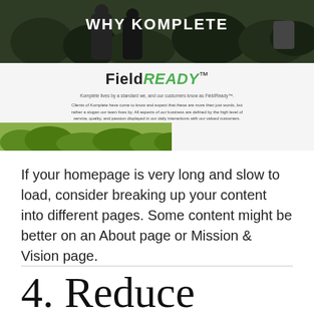[Figure (screenshot): Screenshot of a website section titled 'WHY KOMPLETE' showing an outdoor photo of two people, followed by a white/grey content area with 'Field READY™' logo, tagline and body text about FieldReady™, and a greenery landscape image at the bottom.]
If your homepage is very long and slow to load, consider breaking up your content into different pages. Some content might be better on an About page or Mission & Vision page.
4. Reduce